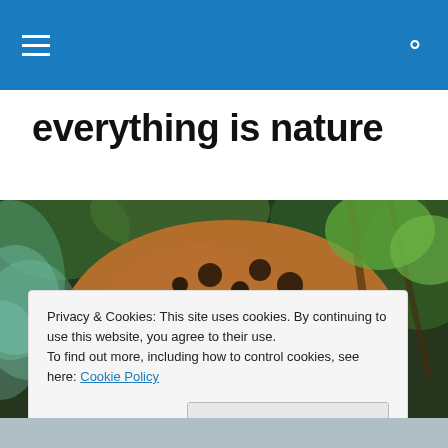Navigation header with hamburger menu and search icon
everything is nature
[Figure (photo): A leopard or jaguar crouching among green foliage and branches, viewed from close range. The animal has orange-brown fur with black spots.]
Privacy & Cookies: This site uses cookies. By continuing to use this website, you agree to their use.
To find out more, including how to control cookies, see here: Cookie Policy
Close and accept